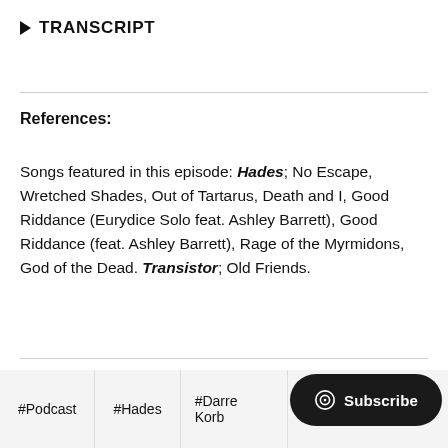▶ TRANSCRIPT
References:
Songs featured in this episode: Hades; No Escape, Wretched Shades, Out of Tartarus, Death and I, Good Riddance (Eurydice Solo feat. Ashley Barrett), Good Riddance (feat. Ashley Barrett), Rage of the Myrmidons, God of the Dead. Transistor; Old Friends.
#Podcast
#Hades
#Darren Korb